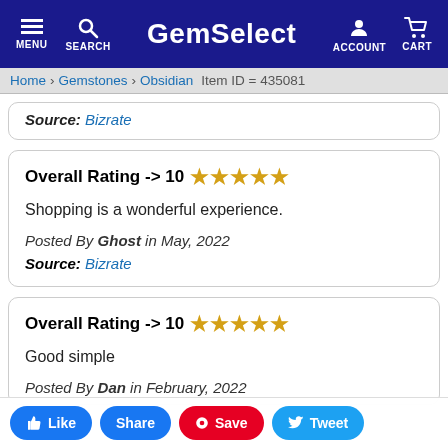GemSelect — MENU SEARCH ACCOUNT CART
Home > Gemstones > Obsidian   Item ID = 435081
Source: Bizrate
Overall Rating -> 10 ★★★★★
Shopping is a wonderful experience.
Posted By Ghost in May, 2022
Source: Bizrate
Overall Rating -> 10 ★★★★★
Good simple
Posted By Dan in February, 2022